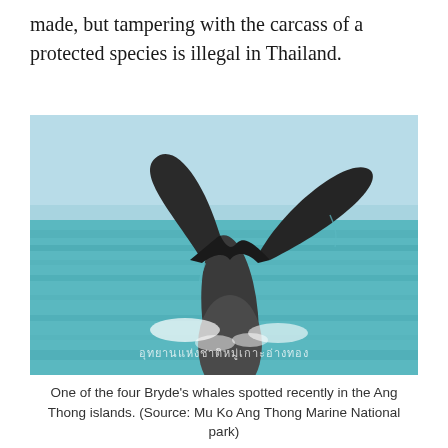made, but tampering with the carcass of a protected species is illegal in Thailand.
[Figure (photo): A whale's tail (fluke) rising above the ocean surface, with turquoise-green water and a pale blue sky in the background. Thai text watermark visible near the bottom of the image.]
One of the four Bryde's whales spotted recently in the Ang Thong islands. (Source: Mu Ko Ang Thong Marine National park)